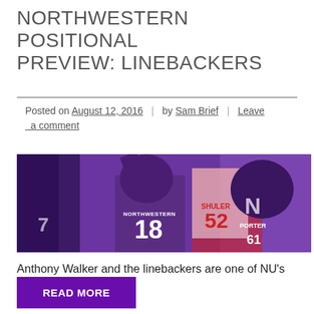NORTHWESTERN POSITIONAL PREVIEW: LINEBACKERS
Posted on August 12, 2016 | by Sam Brief | Leave a comment
[Figure (photo): Northwestern football players in purple uniforms on field, player #18 with arm raised, opponent in red/white Stanford uniform #52 visible]
Anthony Walker and the linebackers are one of NU's biggest strengths.
READ MORE